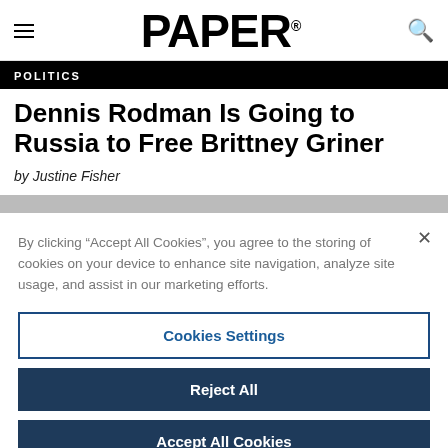PAPER
POLITICS
Dennis Rodman Is Going to Russia to Free Brittney Griner
by Justine Fisher
By clicking “Accept All Cookies”, you agree to the storing of cookies on your device to enhance site navigation, analyze site usage, and assist in our marketing efforts.
Cookies Settings
Reject All
Accept All Cookies